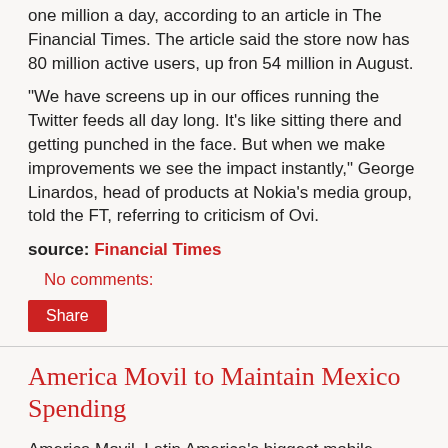one million a day, according to an article in The Financial Times. The article said the store now has 80 million active users, up fron 54 million in August.
"We have screens up in our offices running the Twitter feeds all day long. It's like sitting there and getting punched in the face. But when we make improvements we see the impact instantly," George Linardos, head of products at Nokia's media group, told the FT, referring to criticism of Ovi.
source: Financial Times
No comments:
Share
America Movil to Maintain Mexico Spending
America Movil, Latin America's biggest mobile operator, could invest around 850 million US dollars in its Mexican operations during 2010 - the same as in 2009, according to remarks made by Chief Executive Daniel Hajj during a press conference. source: Total Telecom/Dow Jones